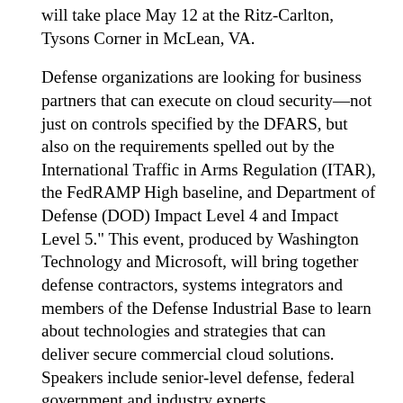will take place May 12 at the Ritz-Carlton, Tysons Corner in McLean, VA.
Defense organizations are looking for business partners that can execute on cloud security—not just on controls specified by the DFARS, but also on the requirements spelled out by the International Traffic in Arms Regulation (ITAR), the FedRAMP High baseline, and Department of Defense (DOD) Impact Level 4 and Impact Level 5." This event, produced by Washington Technology and Microsoft, will bring together defense contractors, systems integrators and members of the Defense Industrial Base to learn about technologies and strategies that can deliver secure commercial cloud solutions.  Speakers include senior-level defense, federal government and industry experts.
"As DOD moves forward with its cloud plans, security will be the make-or-break point for any company